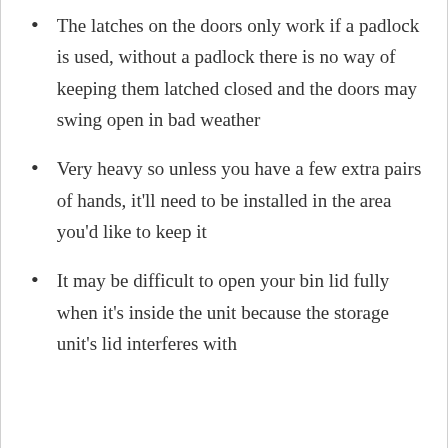The latches on the doors only work if a padlock is used, without a padlock there is no way of keeping them latched closed and the doors may swing open in bad weather
Very heavy so unless you have a few extra pairs of hands, it'll need to be installed in the area you'd like to keep it
It may be difficult to open your bin lid fully when it's inside the unit because the storage unit's lid interferes with